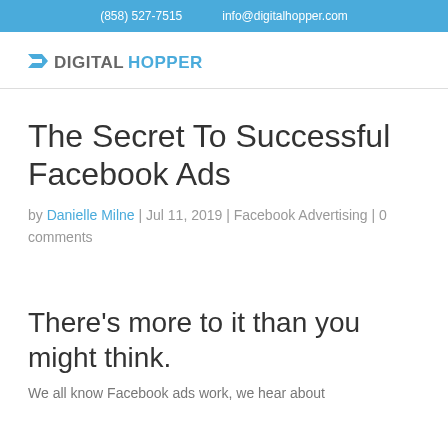(858) 527-7515   info@digitalhopper.com
[Figure (logo): Digital Hopper logo with arrow icon, 'DIGITAL' in gray and 'HOPPER' in blue]
The Secret To Successful Facebook Ads
by Danielle Milne | Jul 11, 2019 | Facebook Advertising | 0 comments
There’s more to it than you might think.
We all know Facebook ads work, we hear about